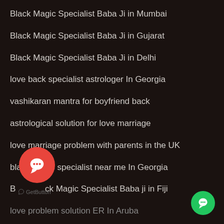Black Magic Specialist Baba Ji in Mumbai
Black Magic Specialist Baba Ji in Gujarat
Black Magic Specialist Baba Ji in Delhi
love back specialist astrologer In Georgia
vashikaran mantra for boyfriend back
astrological solution for love marriage
love marriage problem with parents in the UK
black magic specialist near me In Georgia
Black Magic Specialist Baba ji in Fiji
love problem solution ER In Aruba